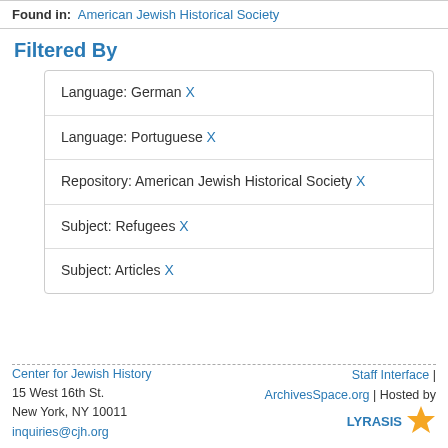Found in: American Jewish Historical Society
Filtered By
Language: German X
Language: Portuguese X
Repository: American Jewish Historical Society X
Subject: Refugees X
Subject: Articles X
Center for Jewish History
15 West 16th St.
New York, NY 10011
inquiries@cjh.org
Staff Interface | ArchivesSpace.org | Hosted by LYRASIS